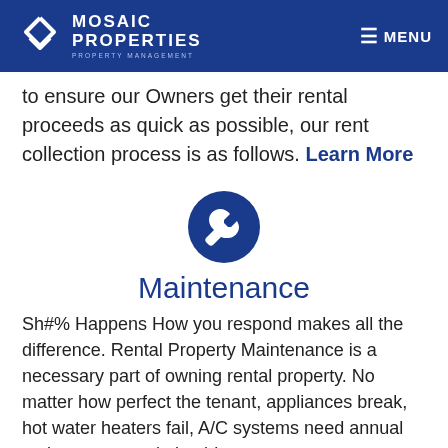Mosaic Properties Property Management — MENU
to ensure our Owners get their rental proceeds as quick as possible, our rent collection process is as follows. Learn More
[Figure (illustration): Blue circle icon with white wrench symbol representing maintenance]
Maintenance
Sh#% Happens How you respond makes all the difference. Rental Property Maintenance is a necessary part of owning rental property. No matter how perfect the tenant, appliances break, hot water heaters fail, A/C systems need annual maintenance and plumbing